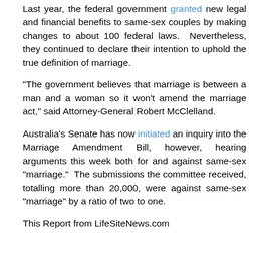Last year, the federal government granted new legal and financial benefits to same-sex couples by making changes to about 100 federal laws.  Nevertheless, they continued to declare their intention to uphold the true definition of marriage.
"The government believes that marriage is between a man and a woman so it won't amend the marriage act," said Attorney-General Robert McClelland.
Australia's Senate has now initiated an inquiry into the Marriage Amendment Bill, however, hearing arguments this week both for and against same-sex "marriage."  The submissions the committee received, totalling more than 20,000, were against same-sex "marriage" by a ratio of two to one.
This Report from LifeSiteNews.com